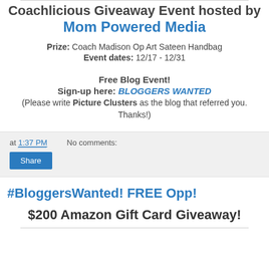Coachlicious Giveaway Event hosted by Mom Powered Media
Prize: Coach Madison Op Art Sateen Handbag
Event dates: 12/17 - 12/31
Free Blog Event!
Sign-up here: BLOGGERS WANTED
(Please write Picture Clusters as the blog that referred you. Thanks!)
at 1:37 PM   No comments:
Share
#BloggersWanted! FREE Opp!
$200 Amazon Gift Card Giveaway!